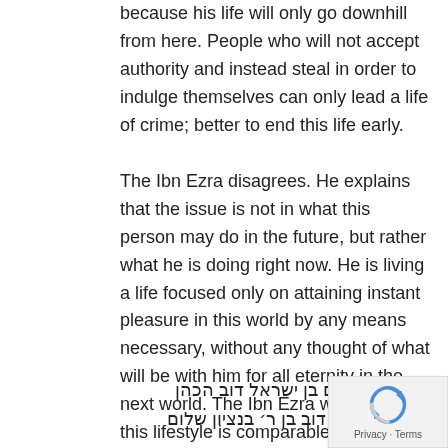because his life will only go downhill from here. People who will not accept authority and instead steal in order to indulge themselves can only lead a life of crime; better to end this life early.
The Ibn Ezra disagrees. He explains that the issue is not in what this person may do in the future, but rather what he is doing right now. He is living a life focused only on attaining instant pleasure in this world by any means necessary, without any thought of what will be with him for all eternity in the next world. The Ibn Ezra writes that this lifestyle is comparable to being an Apikores. This belief that we are here to enjoy this world, rather than to prepare for the next one, is the very antithesis of our entire religion.
לע״נ דוד חיים בן ישראל דוב הכהן
לע״נ ר׳ חיים דוב בן ר׳ בנציון שלום